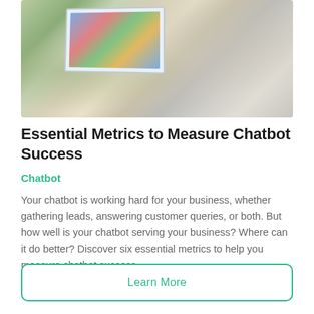[Figure (photo): A person working at a laptop with a second laptop displaying charts and analytics dashboards in the background, on a desk with a plant.]
Essential Metrics to Measure Chatbot Success
Chatbot
Your chatbot is working hard for your business, whether gathering leads, answering customer queries, or both. But how well is your chatbot serving your business? Where can it do better? Discover six essential metrics to help you measure chatbot success.